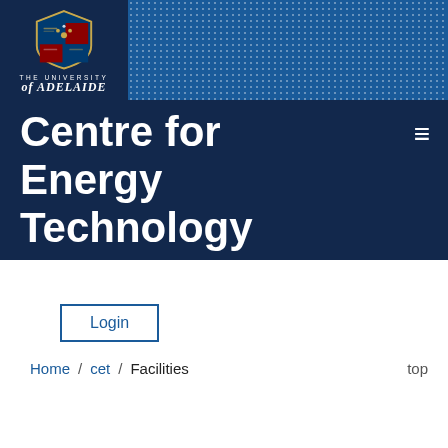[Figure (logo): The University of Adelaide logo — shield crest with text]
Centre for Energy Technology
Login
Home / cet / Facilities   top